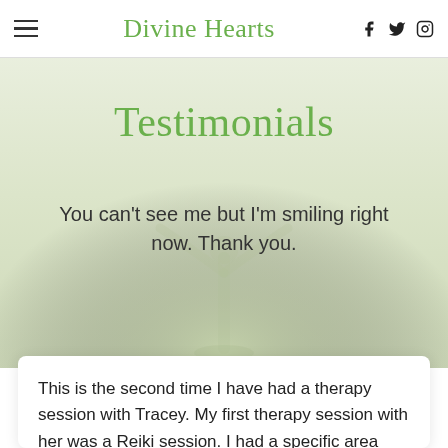Divine Hearts
Testimonials
You can't see me but I'm smiling right now. Thank you.
This is the second time I have had a therapy session with Tracey. My first therapy session with her was a Reiki session. I had a specific area that I wanted to work on and without me